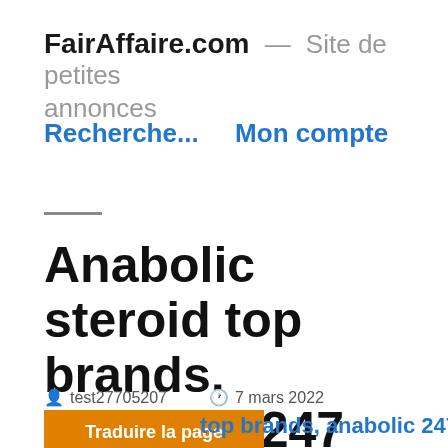FairAffaire.com — Site de petites annonces
Recherche...   Mon compte
Anabolic steroid top brands, anabolic 247
test27705207   7 mars 2022
Traduire la page
top brands, anabolic 247